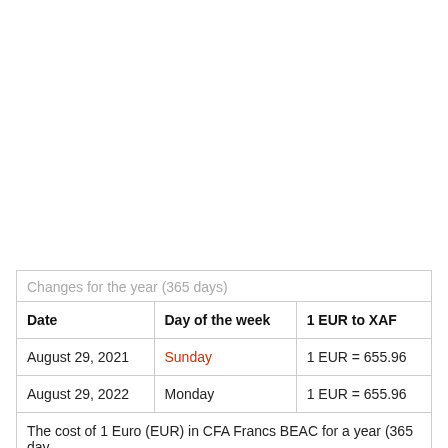| Date | Day of the week | 1 EUR to XAF |
| --- | --- | --- |
| August 29, 2021 | Sunday | 1 EUR = 655.96 |
| August 29, 2022 | Monday | 1 EUR = 655.96 |
| The cost of 1 Euro (EUR) in CFA Francs BEAC for a year (365 day |  |  |